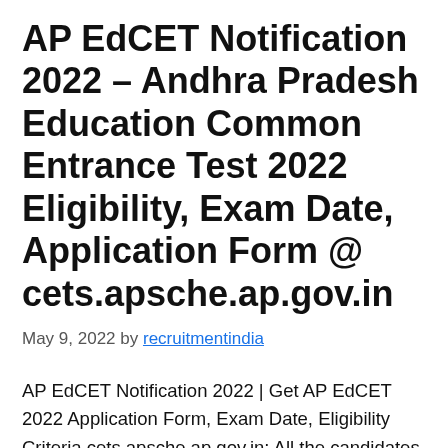AP EdCET Notification 2022 – Andhra Pradesh Education Common Entrance Test 2022 Eligibility, Exam Date, Application Form @ cets.apsche.ap.gov.in
May 9, 2022 by recruitmentindia
AP EdCET Notification 2022 | Get AP EdCET 2022 Application Form, Exam Date, Eligibility Criteria cets.apsche.ap.gov.in: All the candidates, who are willing to apply for this AP EdCET Notification 2022 this is an exact time. The Sri Padmavati Women's University, Tirupati officials issued the notification